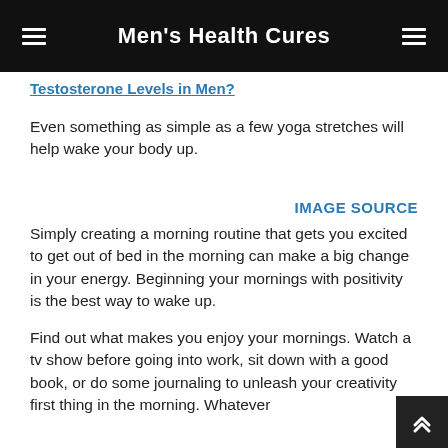Men's Health Cures
Testosterone Levels in Men?
Even something as simple as a few yoga stretches will help wake your body up.
IMAGE SOURCE
Simply creating a morning routine that gets you excited to get out of bed in the morning can make a big change in your energy. Beginning your mornings with positivity is the best way to wake up.
Find out what makes you enjoy your mornings. Watch a tv show before going into work, sit down with a good book, or do some journaling to unleash your creativity first thing in the morning. Whatever